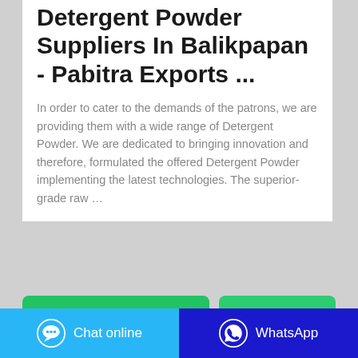Detergent Powder Suppliers In Balikpapan - Pabitra Exports ...
In order to cater to the demands of the patrons, we are providing them with a wide range of Detergent Powder. We are dedicated to bringing innovation and therefore, formulated the offered Detergent Powder implementing the latest technologies. The superior-grade raw …
CONTACT THE MANUFACTURER
WHATSAPP
Chat online   WhatsApp